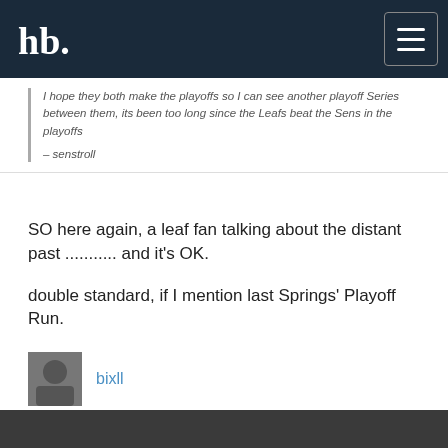hb. [logo] [menu button]
I hope they both make the playoffs so I can see another playoff Series between them, its been too long since the Leafs beat the Sens in the playoffs
– senstroll
SO here again, a leaf fan talking about the distant past ........... and it's OK.

double standard, if I mention last Springs' Playoff Run.
bixll
Oct 4 @ 8:12 AM ET